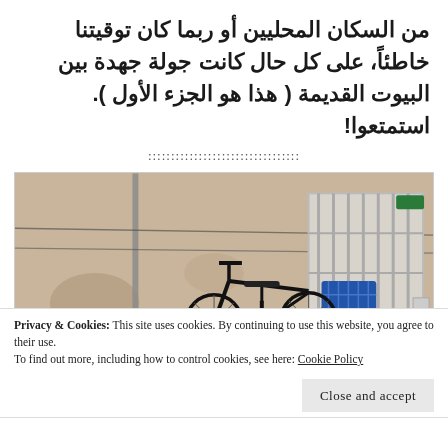من السكان المحليين أو ربما كان توقيتنا خاطئاً، على كل حال كانت جولة جهدة بين البيوت القديمة ( هذا هو الجزء الأول ). استمتعوا!
:::::::::::::::::::::::::::::::::
[Figure (photo): A bicycle parked against an old weathered beige wall with a white barred door/gate, blue crate attached to rear rack, pipes running along the wall, green sign in upper right corner]
Privacy & Cookies: This site uses cookies. By continuing to use this website, you agree to their use. To find out more, including how to control cookies, see here: Cookie Policy
Close and accept